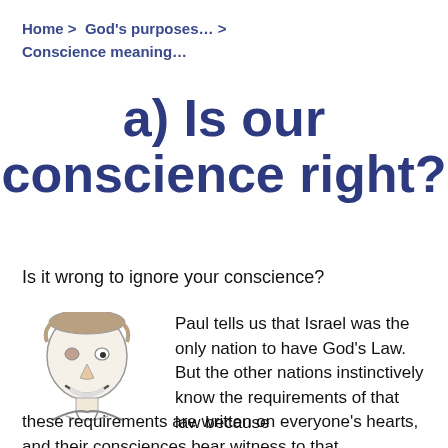Home > God's purposes… > Conscience meaning…
a) Is our conscience right?
Is it wrong to ignore your conscience?
[Figure (illustration): Hand-drawn sketch of a smiling person's face and upper body]
Paul tells us that Israel was the only nation to have God's Law. But the other nations instinctively know the requirements of that law because these requirements are written on everyone's hearts, and their consciences bear witness to that